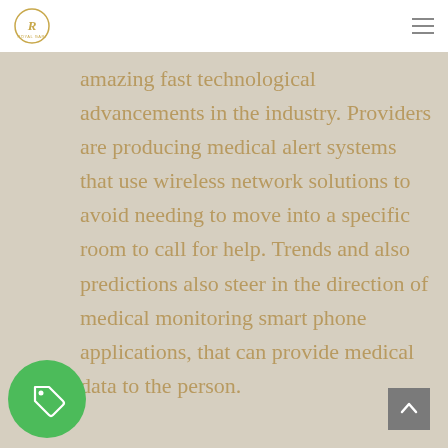Royal Gari logo and navigation menu
amazing fast technological advancements in the industry. Providers are producing medical alert systems that use wireless network solutions to avoid needing to move into a specific room to call for help. Trends and also predictions also steer in the direction of medical monitoring smart phone applications, that can provide medical data to the person.